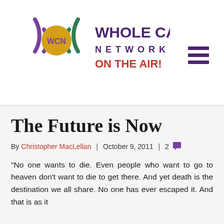[Figure (logo): Whole Care Network logo with WCN radio wave icon and text 'WHOLE CARE NETWORK ON THE AIR!']
The Future is Now
By Christopher MacLellan | October 9, 2011 | 2
“No one wants to die. Even people who want to go to heaven don’t want to die to get there. And yet death is the destination we all share. No one has ever escaped it. And that is as it